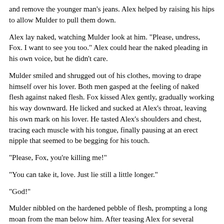and remove the younger man's jeans. Alex helped by raising his hips to allow Mulder to pull them down.
Alex lay naked, watching Mulder look at him. "Please, undress, Fox. I want to see you too." Alex could hear the naked pleading in his own voice, but he didn't care.
Mulder smiled and shrugged out of his clothes, moving to drape himself over his lover. Both men gasped at the feeling of naked flesh against naked flesh. Fox kissed Alex gently, gradually working his way downward. He licked and sucked at Alex's throat, leaving his own mark on his lover. He tasted Alex's shoulders and chest, tracing each muscle with his tongue, finally pausing at an erect nipple that seemed to be begging for his touch.
"Please, Fox, you're killing me!"
"You can take it, love. Just lie still a little longer."
"God!"
Mulder nibbled on the hardened pebble of flesh, prompting a long moan from the man below him. After teasing Alex for several minutes, Mulder continued his explorations. He traced the outline of the younger man's navel, prompting a reflexive flinch and fearing to twist the rest of him. Fox tossed about the finest being